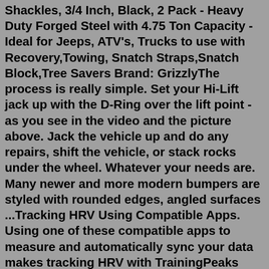Shackles, 3/4 Inch, Black, 2 Pack - Heavy Duty Forged Steel with 4.75 Ton Capacity - Ideal for Jeeps, ATV's, Trucks to use with Recovery,Towing, Snatch Straps,Snatch Block,Tree Savers Brand: GrizzlyThe process is really simple. Set your Hi-Lift jack up with the D-Ring over the lift point - as you see in the video and the picture above. Jack the vehicle up and do any repairs, shift the vehicle, or stack rocks under the wheel. Whatever your needs are. Many newer and more modern bumpers are styled with rounded edges, angled surfaces ...Tracking HRV Using Compatible Apps. Using one of these compatible apps to measure and automatically sync your data makes tracking HRV with TrainingPeaks simple and easy. HRV can also be manually logged from the calendar in both the TrainingPeaks web and mobile applications. ithlete has both iOS and Android apps for measuring your daily HRV.Oura Ring: the most accurate sleep and activity tracker is all about you: it measures the physiological signals of your body, understands your life...